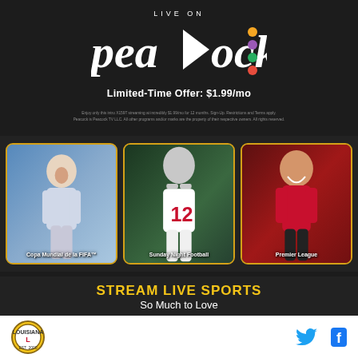[Figure (infographic): Peacock streaming service advertisement. Top dark section with 'LIVE ON' text and Peacock logo with colorful dots. Limited-Time Offer: $1.99/mo text. Three sports cards: Copa Mundial de la FIFA (soccer, Messi), Sunday Night Football (NFL, Tom Brady), Premier League (soccer, Mohamed Salah). 'STREAM LIVE SPORTS - So Much to Love' tagline. Bottom footer with Louisiana badge logo and social media Twitter/Facebook icons.]
Limited-Time Offer: $1.99/mo
Copa Mundial de la FIFA™
Sunday Night Football
Premier League
STREAM LIVE SPORTS
So Much to Love